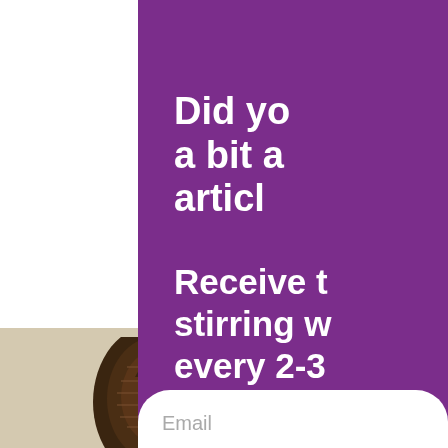I received a surprise package in the mail today. Our son Terrill found a way to mail some of his artwork out of his prison. Trust me, mail is not a simple thing when in prison. Especially since there is not a mail packaging supply store. I don't know where he got the supplies and I'm grateful nothing was damaged through the postal system.
Also, his ability to get art supplies is nil.
Look at this!
[Figure (illustration): Bottom portion of a decorative artwork piece, partially cropped, showing a dark brown ornamental design on a beige/tan background]
Did yo a bit a articl
Receive t stirring w every 2-3
Email